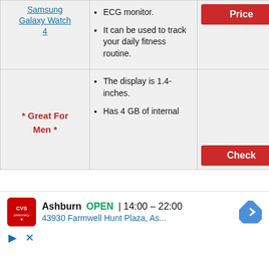| Product | Features | Price |
| --- | --- | --- |
| Samsung Galaxy Watch 4 | ECG monitor.
It can be used to track your daily fitness routine. | Check Price |
| * Great For Men * | The display is 1.4-inches.
Has 4 GB of internal ... | Check ... |
[Figure (other): CVS Pharmacy advertisement banner showing Ashburn location OPEN 14:00-22:00 at 43930 Farmwell Hunt Plaza, As...]